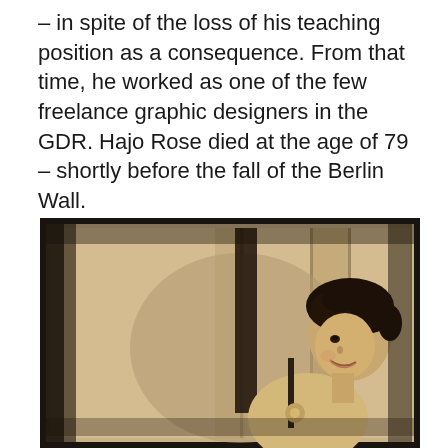– in spite of the loss of his teaching position as a consequence. From that time, he worked as one of the few freelance graphic designers in the GDR. Hajo Rose died at the age of 79 – shortly before the fall of the Berlin Wall.
[Figure (photo): Vintage sepia-toned photograph of a young smiling woman with dark curly hair, looking over her shoulder, wearing a sleeveless dress with a flower detail. The photo has dark borders/edges typical of old photographic prints.]